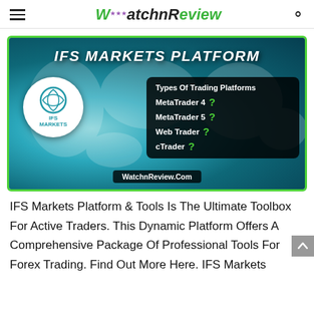WatchnReview
[Figure (infographic): IFS Markets Platform banner with a world map background, IFS Markets logo circle on the left, a black info box listing 'Types Of Trading Platforms: MetaTrader 4, MetaTrader 5, Web Trader, cTrader' each with a green question mark, and 'WatchnReview.Com' at the bottom. Title text reads 'IFS MARKETS PLATFORM'.]
IFS Markets Platform & Tools Is The Ultimate Toolbox For Active Traders. This Dynamic Platform Offers A Comprehensive Package Of Professional Tools For Forex Trading. Find Out More Here. IFS Markets